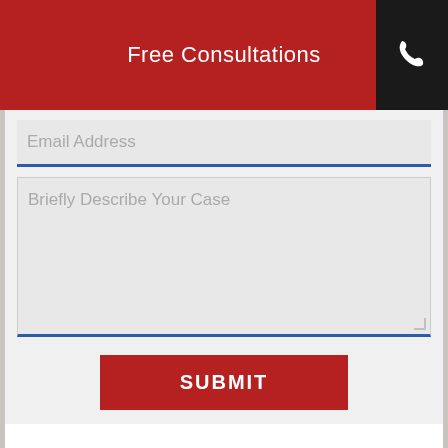Free Consultations
Email Address
Briefly Describe Your Case
SUBMIT
Criminal Defense Attorney & Workers Compensation Law